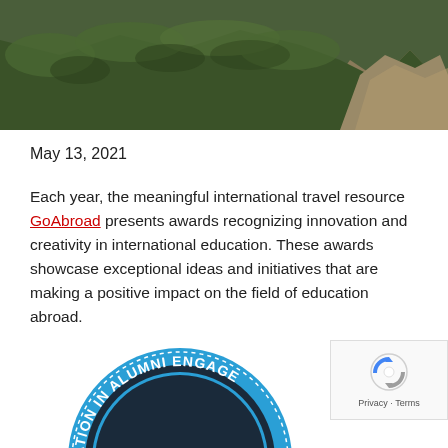[Figure (photo): Aerial landscape photo showing forested hillside with rocky cliff formations in the background, mountains with dense green tree cover]
May 13, 2021
Each year, the meaningful international travel resource GoAbroad presents awards recognizing innovation and creativity in international education. These awards showcase exceptional ideas and initiatives that are making a positive impact on the field of education abroad.
[Figure (logo): Circular badge/seal in blue and black reading 'INNOVATION IN ALUMNI ENGAGEMENT' with a trophy or award icon in the center]
[Figure (other): reCAPTCHA widget showing Google reCAPTCHA logo with 'Privacy · Terms' text]